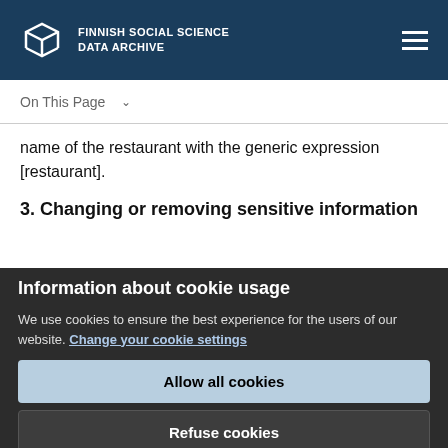FINNISH SOCIAL SCIENCE DATA ARCHIVE
name of the restaurant with the generic expression [restaurant].
3. Changing or removing sensitive information
Information about cookie usage
We use cookies to ensure the best experience for the users of our website. Change your cookie settings
Allow all cookies
Refuse cookies